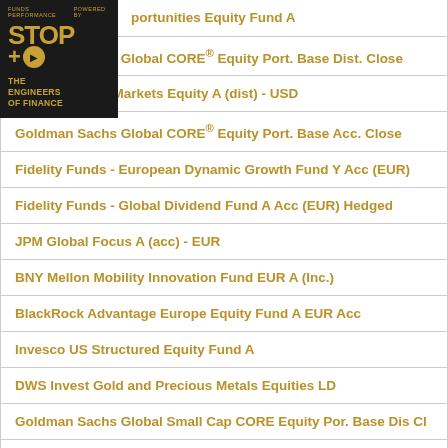[Figure (logo): Stop+Go Funds Performance logo with Engineers of Finance branding, dark background with gold text]
...opportunities Equity Fund A
Goldman Sachs Global CORE® Equity Port. Base Dist. Close
JPM Emerging Markets Equity A (dist) - USD
Goldman Sachs Global CORE® Equity Port. Base Acc. Close
Fidelity Funds - European Dynamic Growth Fund Y Acc (EUR)
Fidelity Funds - Global Dividend Fund A Acc (EUR) Hedged
JPM Global Focus A (acc) - EUR
BNY Mellon Mobility Innovation Fund EUR A (Inc.)
BlackRock Advantage Europe Equity Fund A EUR Acc
Invesco US Structured Equity Fund A
DWS Invest Gold and Precious Metals Equities LD
Goldman Sachs Global Small Cap CORE Equity Por. Base Dis Cl
SLI Global SICAV Global Equities Fund A thes.